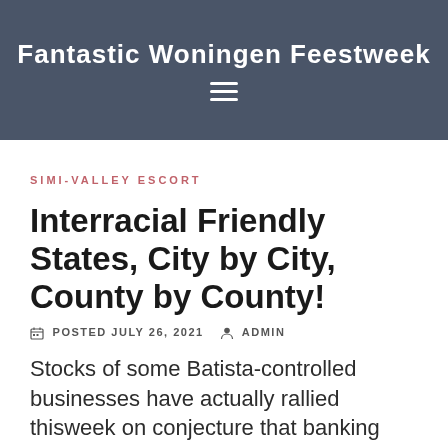Fantastic Woningen Feestweek
SIMI-VALLEY ESCORT
Interracial Friendly States, City by City, County by County!
POSTED JULY 26, 2021   ADMIN
Stocks of some Batista-controlled businesses have actually rallied thisweek on conjecture that banking